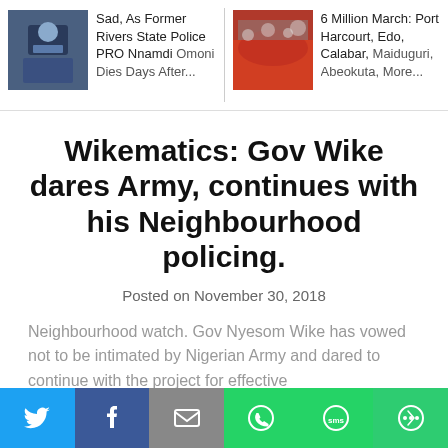Sad, As Former Rivers State Police PRO Nnamdi Omoni Dies Days After...
6 Million March: Port Harcourt, Edo, Calabar, Maiduguri, Abeokuta, More...
Wikematics: Gov Wike dares Army, continues with his Neighbourhood policing.
Posted on November 30, 2018
Neighbourhood watch. Gov Nyesom Wike has vowed not to be intimated by Nigerian Army and dared to continue with the project for effective